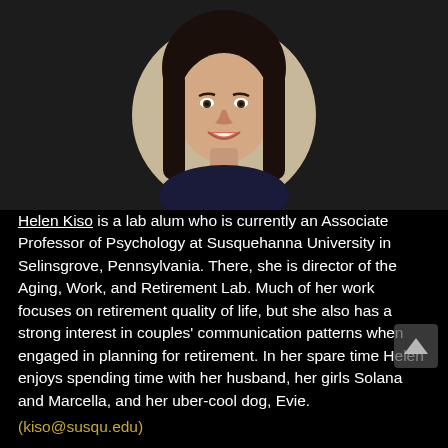[Figure (photo): Headshot portrait of Helen Kiso — a woman with long dark hair, smiling, wearing a dark patterned top, displayed in a circular crop against a dark background]
Helen Kiso is a lab alum who is currently an Associate Professor of Psychology at Susquehanna University in Selinsgrove, Pennsylvania. There, she is director of the Aging, Work, and Retirement Lab. Much of her work focuses on retirement quality of life, but she also has a strong interest in couples' communication patterns when engaged in planning for retirement. In her spare time Helen enjoys spending time with her husband, her girls Solana and Marcella, and her uber-cool dog, Evie.
(kiso@susqu.edu)